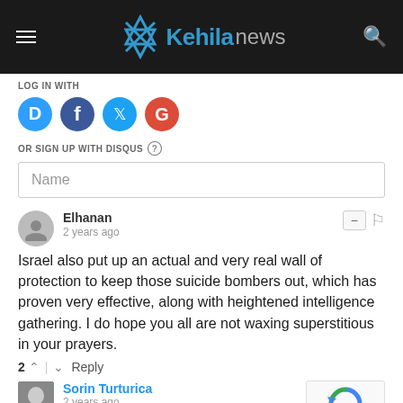[Figure (logo): Kehila News logo on dark header bar with hamburger menu and search icon]
LOG IN WITH
[Figure (infographic): Four social login icons: Disqus (D), Facebook (f), Twitter (bird), Google (G)]
OR SIGN UP WITH DISQUS
Name
Elhanan
2 years ago
Israel also put up an actual and very real wall of protection to keep those suicide bombers out, which has proven very effective, along with heightened intelligence gathering. I do hope you all are not waxing superstitious in your prayers.
2 | Reply
Sorin Turturica
2 years ago
I am only one private in my foxhole in full armor of God in